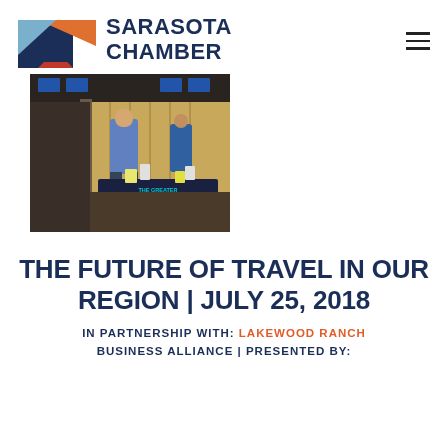SARASOTA CHAMBER
[Figure (photo): Indoor event photo at a bowling alley venue showing attendees at a table draped with a 'The Greater Sarasota Chamber of Commerce' branded tablecloth]
THE FUTURE OF TRAVEL IN OUR REGION | JULY 25, 2018
IN PARTNERSHIP WITH: LAKEWOOD RANCH
BUSINESS ALLIANCE | PRESENTED BY: